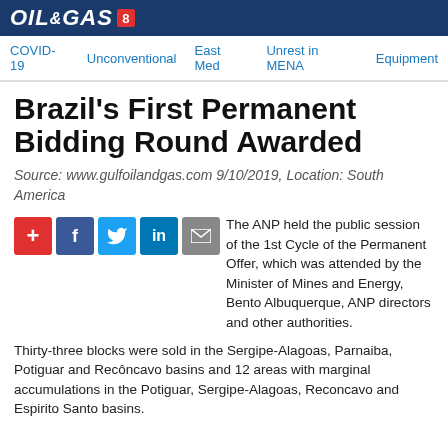OIL & GAS
COVID-19 | Unconventional | East Med | Unrest in MENA | Equipment
Brazil's First Permanent Bidding Round Awarded
Source: www.gulfoilandgas.com 9/10/2019, Location: South America
[Figure (other): Social share icons: plus, Facebook, Twitter, LinkedIn, email]
The ANP held the public session of the 1st Cycle of the Permanent Offer, which was attended by the Minister of Mines and Energy, Bento Albuquerque, ANP directors and other authorities.
Thirty-three blocks were sold in the Sergipe-Alagoas, Parnaiba, Potiguar and Recôncavo basins and 12 areas with marginal accumulations in the Potiguar, Sergipe-Alagoas, Reconcavo and Espirito Santo basins.